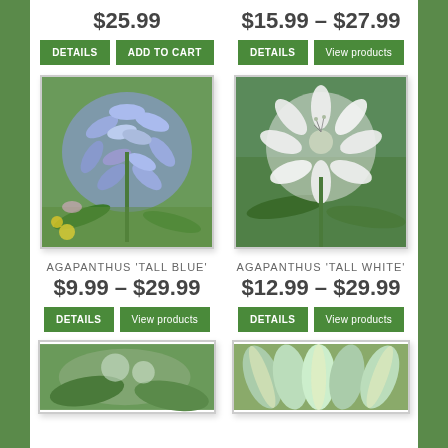$25.99
DETAILS | ADD TO CART
$15.99 – $27.99
DETAILS | View products
[Figure (photo): Blue agapanthus flowers (Agapanthus Tall Blue) with lavender-blue petals and green foliage]
AGAPANTHUS 'TALL BLUE'
$9.99 – $29.99
DETAILS | View products
[Figure (photo): White agapanthus flowers (Agapanthus Tall White) with white petals and green stem]
AGAPANTHUS 'TALL WHITE'
$12.99 – $29.99
DETAILS | View products
[Figure (photo): Partial view of a plant, appears to be agapanthus or similar garden plant]
[Figure (photo): Partial view of a variegated or striped foliage plant]